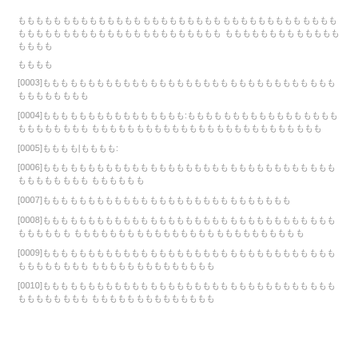ももももももももももももももももももももももももももももももももももももももももももももももももももももももももももも ももももももももももももももももも
もももも
[0003]ももももももももももももももももももももももももももももももももももももももももも
[0004]もももももももももももももももも:ももももももももももももももももももももももももももももももももももももももももももももももももももも
[0005]もももも|もももも:
[0006]ももももももももももももももももももももももももももももももももももももももももも もももももも
[0007]もももももももももももももももももももももももももももも
[0008]ももももももももももももももももももももももももももももももももももももももも もももももももももももももももももももももももももも
[0009]ももももももももももももももももももももももももももももももももももももももももも もももももももももももももも
[0010]ももももももももももももももももももももももももももももももももももももももももも もももももももももももももも